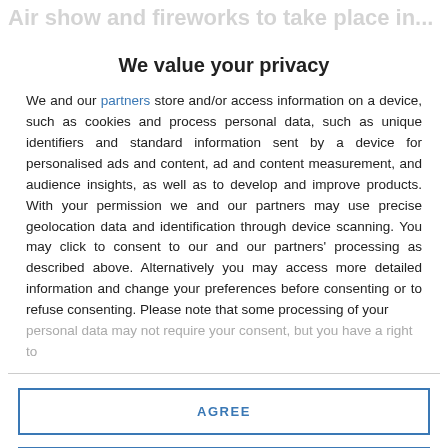Air show and fireworks to take place in...
We value your privacy
We and our partners store and/or access information on a device, such as cookies and process personal data, such as unique identifiers and standard information sent by a device for personalised ads and content, ad and content measurement, and audience insights, as well as to develop and improve products. With your permission we and our partners may use precise geolocation data and identification through device scanning. You may click to consent to our and our partners' processing as described above. Alternatively you may access more detailed information and change your preferences before consenting or to refuse consenting. Please note that some processing of your personal data may not require your consent, but you have a right to
AGREE
MORE OPTIONS
[promoted]